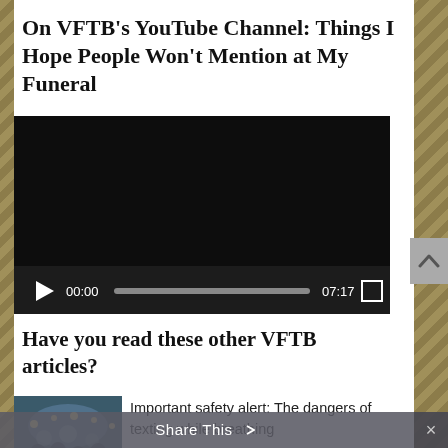On VFTB's YouTube Channel: Things I Hope People Won't Mention at My Funeral
[Figure (screenshot): Embedded video player with black screen (paused), showing controls: play button, timestamp 00:00, progress bar, duration 07:17, fullscreen button]
Have you read these other VFTB articles?
[Figure (photo): Thumbnail photo of people gathered around a table with lights]
Important safety alert: The dangers of texting while breathing
Share This